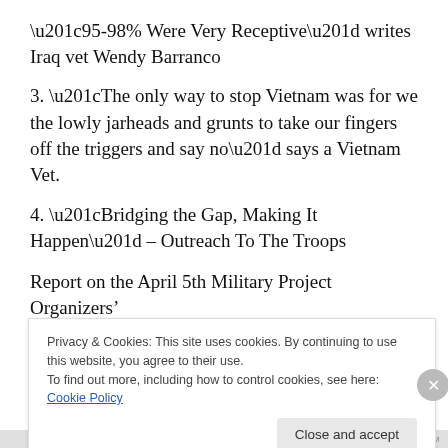“95-98% Were Very Receptive” writes Iraq vet Wendy Barranco
3. “The only way to stop Vietnam was for we the lowly jarheads and grunts to take our fingers off the triggers and say no” says a Vietnam Vet.
4. “Bridging the Gap, Making It Happen” – Outreach To The Troops
Report on the April 5th Military Project Organizers’
Privacy & Cookies: This site uses cookies. By continuing to use this website, you agree to their use.
To find out more, including how to control cookies, see here: Cookie Policy